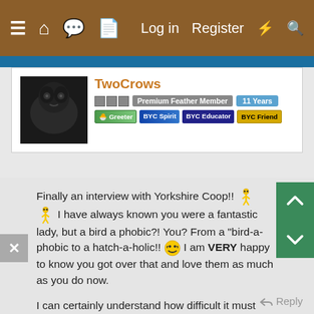≡  🏠  💬  📄    Log in   Register   ⚡   🔍
[Figure (screenshot): Blue navigation strip]
[Figure (photo): Avatar photo of a dark-colored bird (crow)]
TwoCrows
□□□  Premium Feather Member  11 Years
[Figure (infographic): Badge row: Greeter, BYC Spirit, BYC Educator, BYC Friend]
Finally an interview with Yorkshire Coop!! 🙂🙂 I have always known you were a fantastic lady, but a bird a phobic?! You? From a "bird-a-phobic to a hatch-a-holic!! 😄 I am VERY happy to know you got over that and love them as much as you do now.

I can certainly understand how difficult it must have been to lose Poppet. I truly sorry Kim. 🙂😢 They sure do get intertwined in our hearts.

Lovely interview and thank you so much for sharing!! 🙂